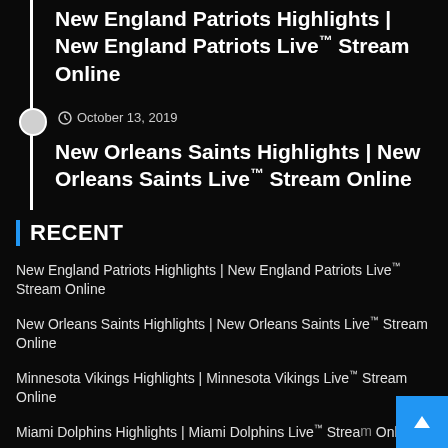New England Patriots Highlights | New England Patriots Live™ Stream Online
© October 13, 2019
New Orleans Saints Highlights | New Orleans Saints Live™ Stream Online
RECENT
New England Patriots Highlights | New England Patriots Live™ Stream Online
New Orleans Saints Highlights | New Orleans Saints Live™ Stream Online
Minnesota Vikings Highlights | Minnesota Vikings Live™ Stream Online
Miami Dolphins Highlights | Miami Dolphins Live™ Stream Online